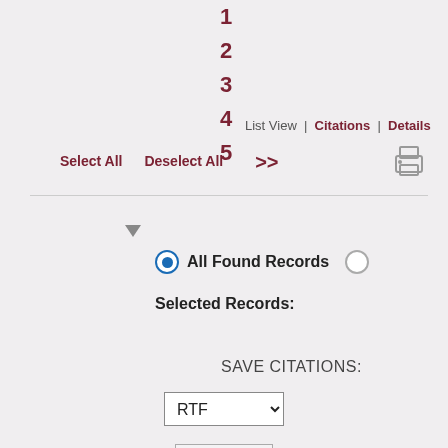1
2
3
4
5
List View | Citations | Details
Select All   Deselect All   >>
▼
● All Found Records   ○
Selected Records:
SAVE CITATIONS:
RTF
Cite
EXPORT RECORDS: